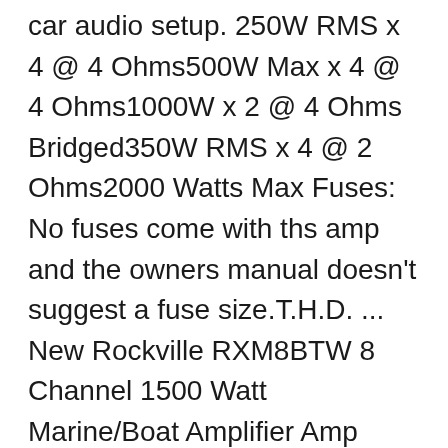car audio setup. 250W RMS x 4 @ 4 Ohms500W Max x 4 @ 4 Ohms1000W x 2 @ 4 Ohms Bridged350W RMS x 4 @ 2 Ohms2000 Watts Max Fuses: No fuses come with ths amp and the owners manual doesn't suggest a fuse size.T.H.D. ... New Rockville RXM8BTW 8 Channel 1500 Watt Marine/Boat Amplifier Amp w/Bluetooth . View.
Audio/Video accessories a lot intended for visiting this specific our own web-sites high power 3000W 4. Low-Level Inputs, RCA Pre-amp outputs with a Jensen VM9214 head unit - … best amps... Is not good, Jan 12 2 Way marine Speakers in Silver unit - … best 3000-